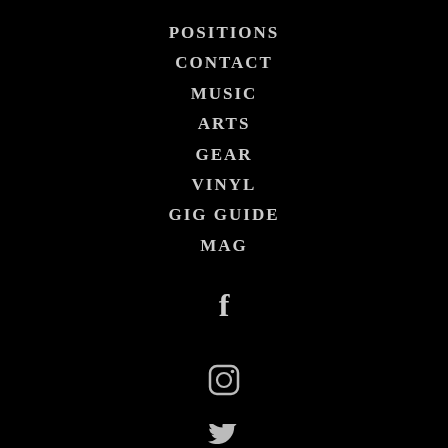POSITIONS
CONTACT
MUSIC
ARTS
GEAR
VINYL
GIG GUIDE
MAG
[Figure (logo): Facebook icon]
[Figure (logo): Instagram icon]
[Figure (logo): Twitter/X icon (partially visible)]